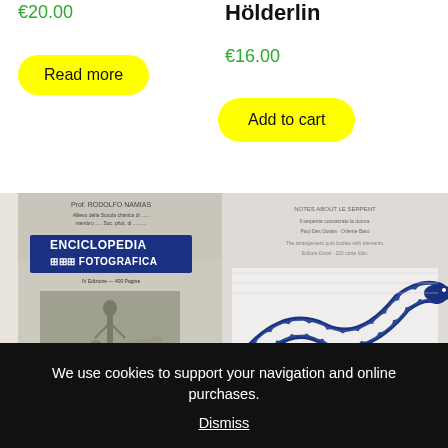€20.00
Read more
Hölderlin
€16.00
Add to cart
[Figure (photo): Book cover of Enciclopedia Fotografica showing a boy with goats in a black and white photograph]
[Figure (photo): Book with blue and white illustration of a fish or marine creature on the cover]
We use cookies to support your navigation and online purchases.
Dismiss